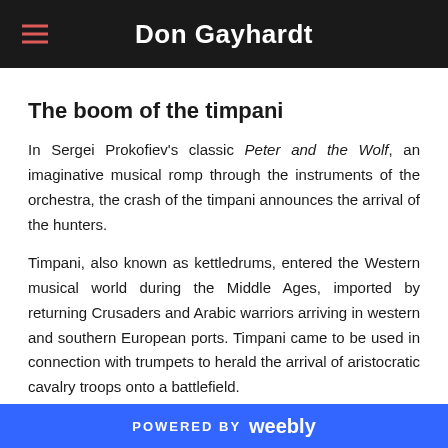Don Gayhardt
The boom of the timpani
In Sergei Prokofiev's classic Peter and the Wolf, an imaginative musical romp through the instruments of the orchestra, the crash of the timpani announces the arrival of the hunters.
Timpani, also known as kettledrums, entered the Western musical world during the Middle Ages, imported by returning Crusaders and Arabic warriors arriving in western and southern European ports. Timpani came to be used in connection with trumpets to herald the arrival of aristocratic cavalry troops onto a battlefield.
Timpani consist of large, round, copper-bodied drums shaped like half of a sphere. Their drumheads consist of sheets of
POWERED BY weebly